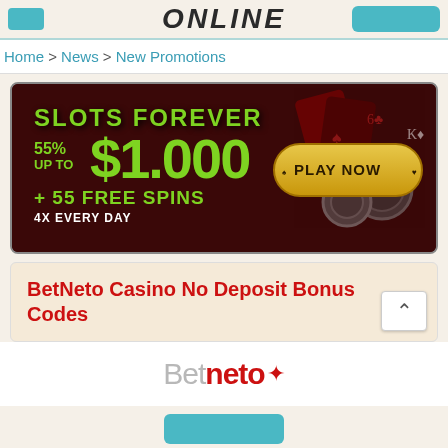ONLINE
Home > News > New Promotions
[Figure (infographic): Casino promotional banner: dark red background with playing cards and casino chips. Text: SLOTS FOREVER, 55% UP TO $1,000 + 55 FREE SPINS, 4X EVERY DAY. Golden PLAY NOW button on the right.]
BetNeto Casino No Deposit Bonus Codes
[Figure (logo): BetNeto logo: 'Bet' in gray, 'neto' in red bold, with a red diamond/star symbol]
[Figure (other): Teal/cyan button at bottom]